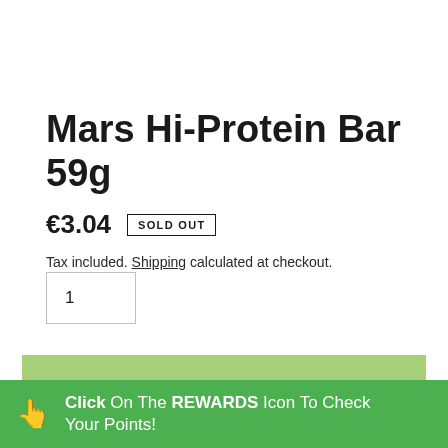Mars Hi-Protein Bar 59g
€3.04  SOLD OUT
Tax included. Shipping calculated at checkout.
1
SOLD OUT
Click On The REWARDS Icon To Check Your Points!